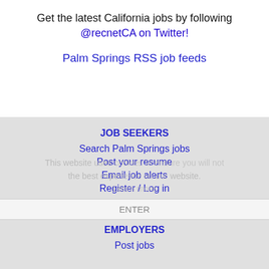Get the latest California jobs by following @recnetCA on Twitter!
Palm Springs RSS job feeds
JOB SEEKERS
Search Palm Springs jobs
Post your resume
Email job alerts
Register / Log in
This website uses cookies to ensure you will not the best experience on our website. Learn more
ENTER
EMPLOYERS
Post jobs